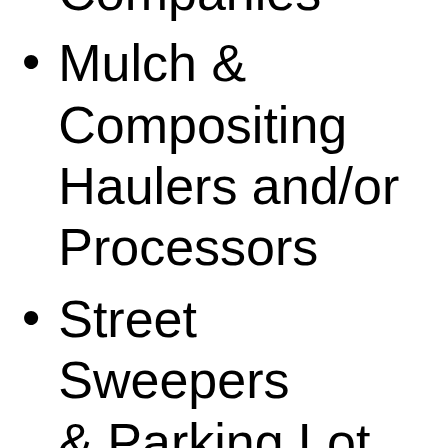Companies
Mulch & Compositing Haulers and/or Processors
Street Sweepers & Parking Lot Sweepers
& More